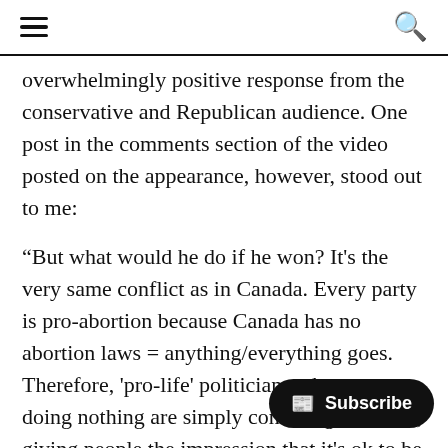☰ [menu icon] | [search icon]
overwhelmingly positive response from the conservative and Republican audience. One post in the comments section of the video posted on the appearance, however, stood out to me:
“But what would he do if he won? It's the very same conflict as in Canada. Every party is pro-abortion because Canada has no abortion laws = anything/everything goes. Therefore, 'pro-life' politicians who propose doing nothing are simply confusing the issue, giving people th[at the impression] that it's ok to be pro-life yet keep[ing the current] abortion situation. You simply have pro-life